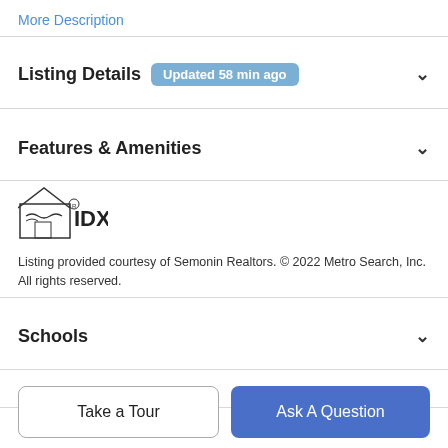More Description
Listing Details — Updated 58 min ago
Features & Amenities
[Figure (logo): IDX logo showing a house outline with a handshake inside and 'IDX' text]
Listing provided courtesy of Semonin Realtors. © 2022 Metro Search, Inc. All rights reserved.
Schools
Payment Calculator
Take a Tour
Ask A Question